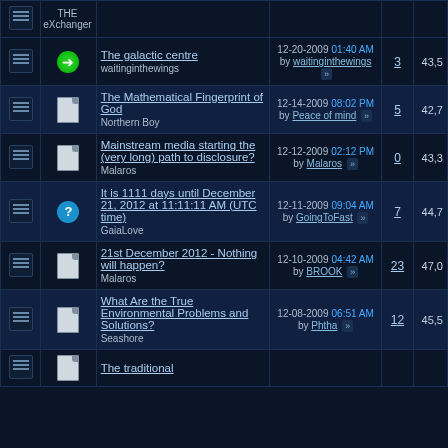|  |  | Thread | Last Post | Replies | Views |
| --- | --- | --- | --- | --- | --- |
| icon | go | The galactic centre
waitinginthewings | 12-20-2009 01:40 AM by waitinginthewings | 3 | 43,5 |
| icon | doc | The Mathematical Fingerprint of God
Northern Boy | 12-14-2009 08:02 PM by Peace of mind | 5 | 42,7 |
| icon | doc | Mainstream media starting the (very long) path to disclosure?
Malaros | 12-12-2009 02:12 PM by Malaros | 0 | 43,3 |
| icon | ? | It is 1111 days until December 21, 2012 at 11:11:11 AM (UTC time)
GaiaLove | 12-11-2009 09:04 AM by GoingToFast | 7 | 44,7 |
| icon | doc | 21st December 2012 - Nothing will happen?
Malaros | 12-10-2009 04:42 AM by BROOK | 23 | 47,0 |
| icon | doc | What Are the True Environmental Problems and Solutions?
Seashore | 12-08-2009 06:51 AM by Phtha | 12 | 45,5 |
| icon | doc | The traditional |  |  |  |